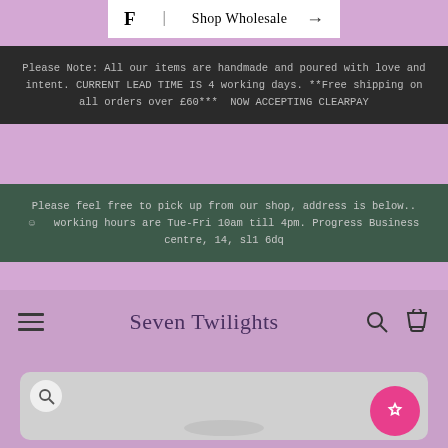[Figure (screenshot): Shop Wholesale navigation bar with serif F logo and arrow]
Please Note:  All our items are handmade and poured with love and intent. CURRENT LEAD TIME IS 4 working days. **Free shipping on all orders over £60***  NOW ACCEPTING CLEARPAY
Please feel free to pick up from our shop, address is below..☺   working hours are Tue-Fri 10am till 4pm. Progress Business centre, 14, sl1 6dq
Seven Twilights
[Figure (photo): Product image area showing a crystal/mineral specimen on a reflective surface, with magnify icon and pink wishlist button]